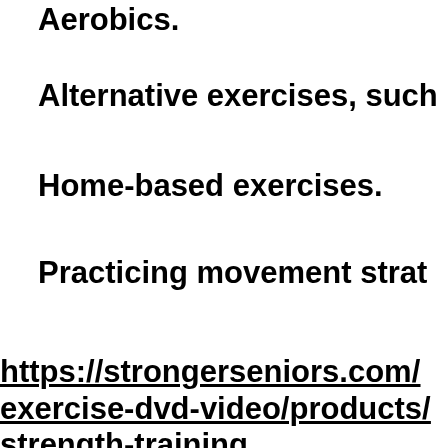Aerobics.
Alternative exercises, such
Home-based exercises.
Practicing movement strat
https://strongerseniors.com/exercise-dvd-video/products/strength-training